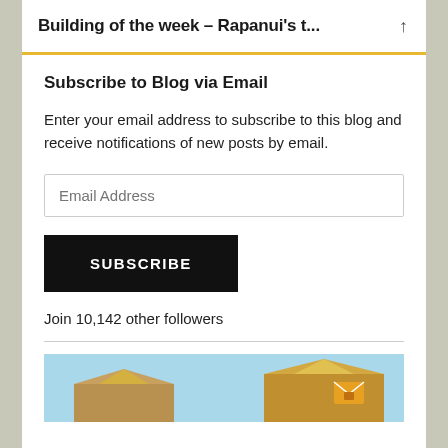Building of the week – Rapanui's t...
Subscribe to Blog via Email
Enter your email address to subscribe to this blog and receive notifications of new posts by email.
Email Address
SUBSCRIBE
Join 10,142 other followers
[Figure (photo): Bottom portion of a building photograph showing rooftops against a blue sky]